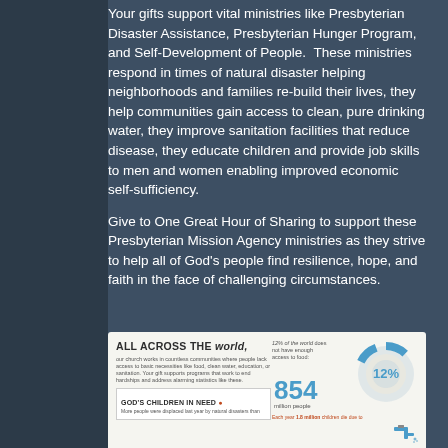Your gifts support vital ministries like Presbyterian Disaster Assistance, Presbyterian Hunger Program, and Self-Development of People. These ministries respond in times of natural disaster helping neighborhoods and families re-build their lives, they help communities gain access to clean, pure drinking water, they improve sanitation facilities that reduce disease, they educate children and provide job skills to men and women enabling improved economic self-sufficiency.
Give to One Great Hour of Sharing to support these Presbyterian Mission Agency ministries as they strive to help all of God's people find resilience, hope, and faith in the face of challenging circumstances.
[Figure (infographic): Infographic titled 'All Across The world,' describing church work in communities worldwide. Shows statistic: 12% of the world does not have enough access to food, 854 million people. Section: God's Children in Need - more people were displaced last year by natural disasters. Right side shows a donut chart with 12% and globe image. Bottom right references 1.8 million children die due to water-related causes with faucet icon.]